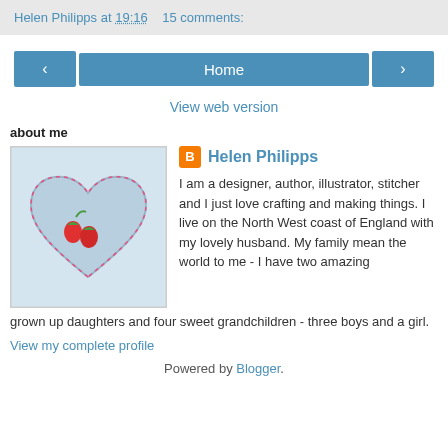Helen Philipps at 19:16   15 comments:
< Home >
View web version
about me
[Figure (photo): Profile photo showing a fabric heart with strawberry embroidery on light blue background]
Helen Philipps
I am a designer, author, illustrator, stitcher and I just love crafting and making things. I live on the North West coast of England with my lovely husband. My family mean the world to me - I have two amazing grown up daughters and four sweet grandchildren - three boys and a girl.
View my complete profile
Powered by Blogger.